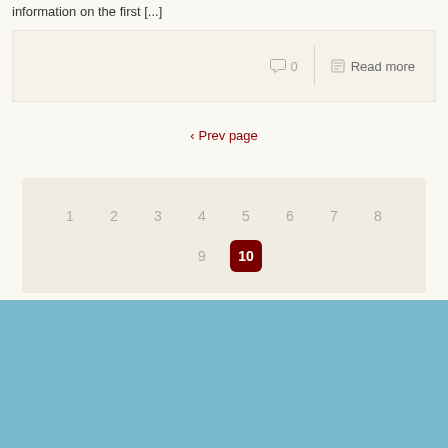information on the first [...]
0   Read more
< Prev page
1 2 3 4 5 6 7 8 9 10
Designed and Presented by John Rodsett.